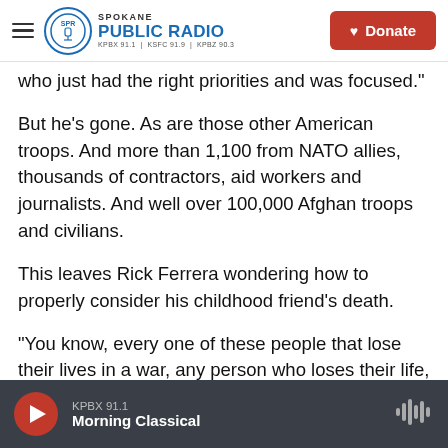Spokane Public Radio — KPBX 91.1 | KSFC 91.9 | KPBZ 90.3 — Donate
who just had the right priorities and was focused."
But he's gone. As are those other American troops. And more than 1,100 from NATO allies, thousands of contractors, aid workers and journalists. And well over 100,000 Afghan troops and civilians.
This leaves Rick Ferrera wondering how to properly consider his childhood friend's death.
"You know, every one of these people that lose their lives in a war, any person who loses their life, in any way, is a person just like all the rest of them,"
KPBX 91.1 — Morning Classical